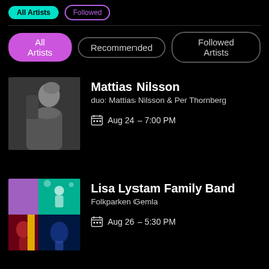All Artists | Recommended | Followed Artists
Mattias Nilsson
duo: Mattias Nilsson & Per Thornberg
Aug 24 - 7:00 PM
Lisa Lystam Family Band
Folkparken Gemla
Aug 26 - 5:30 PM
Pernilla Andersson